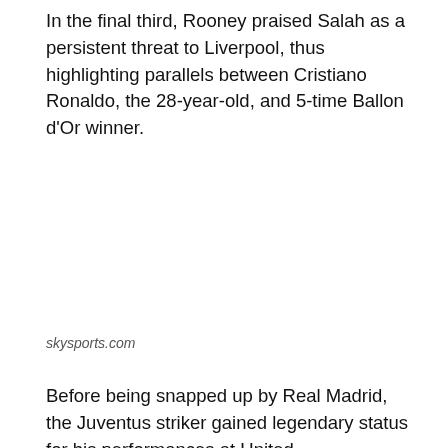In the final third, Rooney praised Salah as a persistent threat to Liverpool, thus highlighting parallels between Cristiano Ronaldo, the 28-year-old, and 5-time Ballon d'Or winner.
skysports.com
Before being snapped up by Real Madrid, the Juventus striker gained legendary status for his performances at United